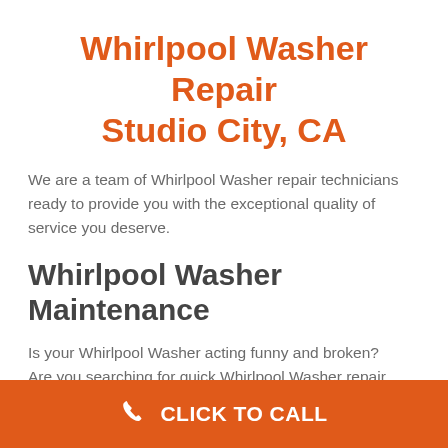Whirlpool Washer Repair Studio City, CA
We are a team of Whirlpool Washer repair technicians ready to provide you with the exceptional quality of service you deserve.
Whirlpool Washer Maintenance
Is your Whirlpool Washer acting funny and broken? Are you searching for quick Whirlpool Washer repair
CLICK TO CALL